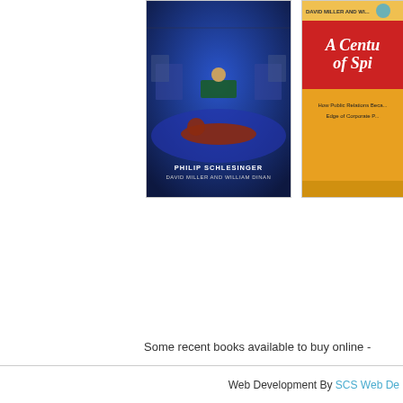[Figure (photo): Book cover: a dark blue cover showing a TV studio scene with the title 'Open Scotland?' by Philip Schlesinger, David Miller and William Dinan]
[Figure (photo): Book cover: orange/red cover titled 'A Century of Spin' by David Miller and William Dinan, with subtitle 'How Public Relations Became the Cutting Edge of Corporate Power']
Some recent books available to buy online -
Web Development By SCS Web De...